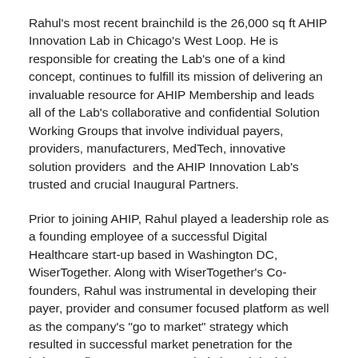Rahul's most recent brainchild is the 26,000 sq ft AHIP Innovation Lab in Chicago's West Loop. He is responsible for creating the Lab's one of a kind concept, continues to fulfill its mission of delivering an invaluable resource for AHIP Membership and leads all of the Lab's collaborative and confidential Solution Working Groups that involve individual payers, providers, manufacturers, MedTech, innovative solution providers  and the AHIP Innovation Lab's trusted and crucial Inaugural Partners.
Prior to joining AHIP, Rahul played a leadership role as a founding employee of a successful Digital Healthcare start-up based in Washington DC, WiserTogether. Along with WiserTogether's Co-founders, Rahul was instrumental in developing their payer, provider and consumer focused platform as well as the company's "go to market" strategy which resulted in successful market penetration for the industry's first ever consumer-led shared decision making and treatment selection platform.
Rahul invites you to learn more about the AHIP Innovation